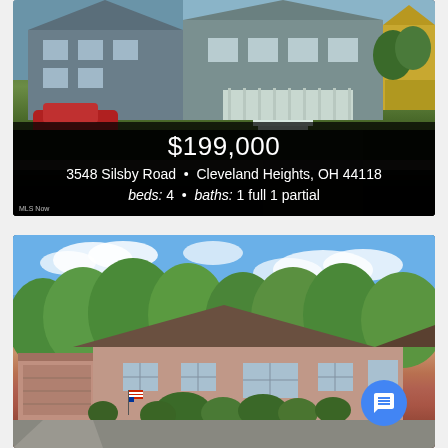[Figure (photo): Exterior photo of a two-story blue house at 3548 Silsby Road, Cleveland Heights, with a red SUV parked in the driveway and green lawn. Dark overlay at bottom shows listing price and details.]
$199,000
3548 Silsby Road • Cleveland Heights, OH 44118
beds: 4 • baths: 1 full 1 partial
[Figure (photo): Exterior photo of a single-story ranch-style brick home with attached garage, blue sky with white clouds, green trees in background.]